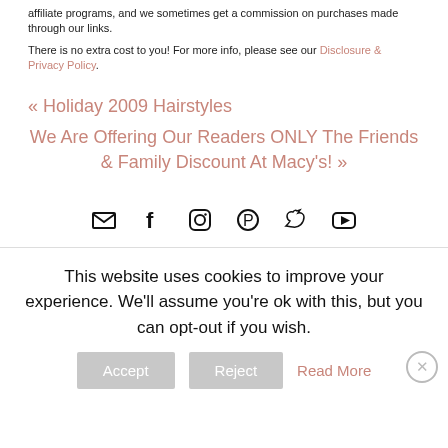affiliate programs, and we sometimes get a commission on purchases made through our links.
There is no extra cost to you! For more info, please see our Disclosure & Privacy Policy.
« Holiday 2009 Hairstyles
We Are Offering Our Readers ONLY The Friends & Family Discount At Macy's! »
[Figure (infographic): Social media icons: email, facebook, instagram, pinterest, twitter, youtube]
This website uses cookies to improve your experience. We'll assume you're ok with this, but you can opt-out if you wish.
Accept  Reject  Read More